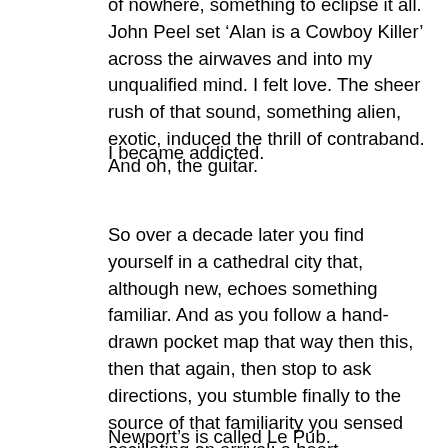of nowhere, something to eclipse it all. John Peel set ‘Alan is a Cowboy Killer’ across the airwaves and into my unqualified mind. I felt love. The sheer rush of that sound, something alien, exotic, induced the thrill of contraband. And oh, the guitar.
I became addicted.
So over a decade later you find yourself in a cathedral city that, although new, echoes something familiar. And as you follow a hand-drawn pocket map that way then this, then that again, then stop to ask directions, you stumble finally to the source of that familiarity you sensed oscillating on arrival: a heart.
Newport’s is called Le Pub.